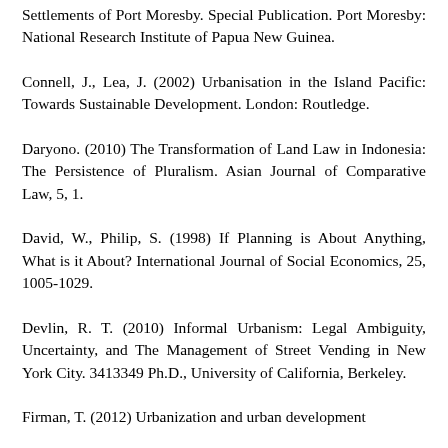Settlements of Port Moresby. Special Publication. Port Moresby: National Research Institute of Papua New Guinea.
Connell, J., Lea, J. (2002) Urbanisation in the Island Pacific: Towards Sustainable Development. London: Routledge.
Daryono. (2010) The Transformation of Land Law in Indonesia: The Persistence of Pluralism. Asian Journal of Comparative Law, 5, 1.
David, W., Philip, S. (1998) If Planning is About Anything, What is it About? International Journal of Social Economics, 25, 1005-1029.
Devlin, R. T. (2010) Informal Urbanism: Legal Ambiguity, Uncertainty, and The Management of Street Vending in New York City. 3413349 Ph.D., University of California, Berkeley.
Firman, T. (2012) Urbanization and urban development